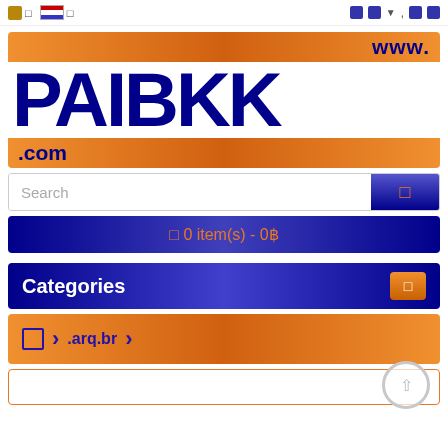Navigation bar with language/currency icons and user icons
[Figure (logo): PAIBKK.COM logo with orange gradient banners top and bottom, large dark blue bold text PAIBKK, www. in top right, .com in bottom left]
Search
0 item(s) - 0฿
Categories
.arq.br